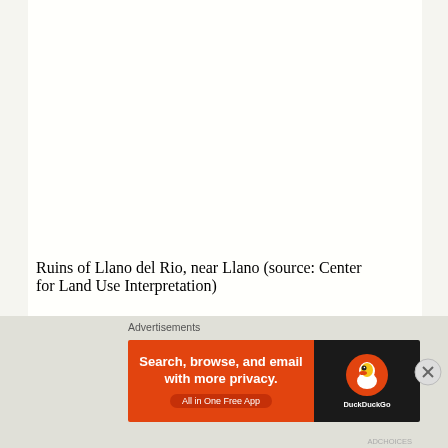Ruins of Llano del Rio, near Llano (source: Center for Land Use Interpretation)
Llano is a small town with a population of about 1200. Just north of town are the ruins of the Llano Del Rio Company of Nevada commune.
NEENACH
[Figure (infographic): Advertisement banner for DuckDuckGo: orange background with text 'Search, browse, and email with more privacy.' and 'All in One Free App', alongside a dark panel with the DuckDuckGo duck logo]